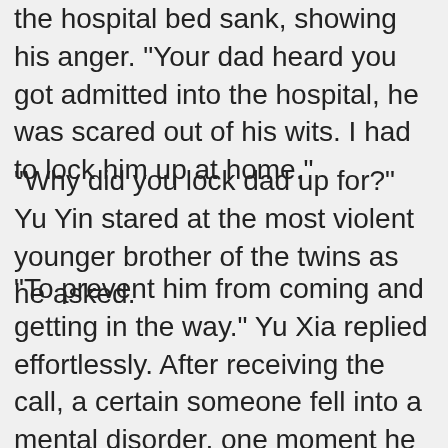the hospital bed sank, showing his anger. "Your dad heard you got admitted into the hospital, he was scared out of his wits. I had to lock him up at home."
"Why did you lock dad up for?" Yu Yin stared at the most violent younger brother of the twins as he asked.
"To prevent him from coming and getting in the way." Yu Xia replied effortlessly. After receiving the call, a certain someone fell into a mental disorder, one moment he was going to pack the clothes, the next moment he was going to make some food, then he was looking for some information and was searching high and low. In the end, the one that was labeled the most composed officer in the police department, was like a headless fly, knocking into the wall at home.